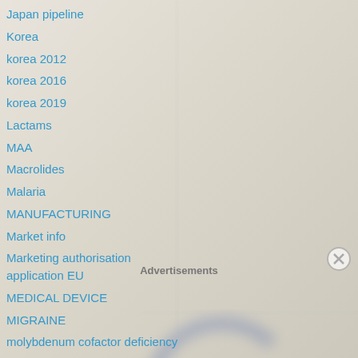Japan pipeline
Korea
korea 2012
korea 2016
korea 2019
Lactams
MAA
Macrolides
Malaria
MANUFACTURING
Market info
Marketing authorisation application EU
MEDICAL DEVICE
MIGRAINE
molybdenum cofactor deficiency
Monoclonal antibody
Advertisements